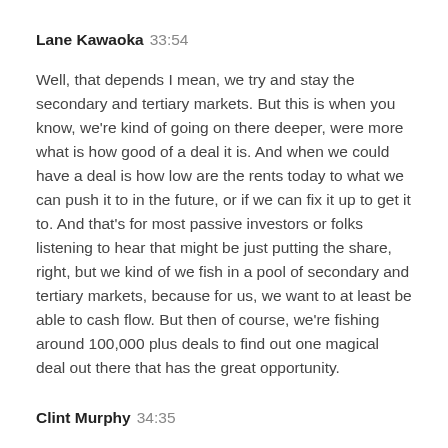Lane Kawaoka  33:54
Well, that depends I mean, we try and stay the secondary and tertiary markets. But this is when you know, we're kind of going on there deeper, were more what is how good of a deal it is. And when we could have a deal is how low are the rents today to what we can push it to in the future, or if we can fix it up to get it to. And that's for most passive investors or folks listening to hear that might be just putting the share, right, but we kind of we fish in a pool of secondary and tertiary markets, because for us, we want to at least be able to cash flow. But then of course, we're fishing around 100,000 plus deals to find out one magical deal out there that has the great opportunity.
Clint Murphy  34:35